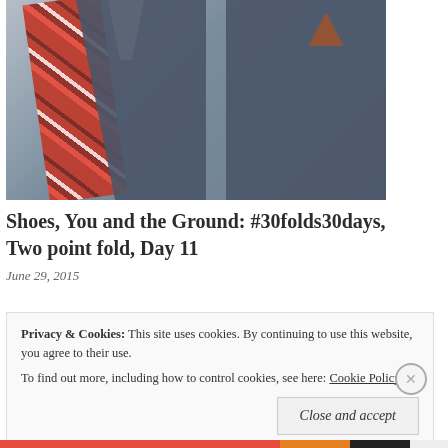[Figure (photo): Close-up photo of a man wearing a dark grey wool suit jacket with a red tartan/plaid tie and a brown/rust-colored pocket square visible in the breast pocket. White shirt collar visible underneath.]
Shoes, You and the Ground: #30folds30days, Two point fold, Day 11
June 29, 2015
Privacy & Cookies: This site uses cookies. By continuing to use this website, you agree to their use. To find out more, including how to control cookies, see here: Cookie Policy
Close and accept